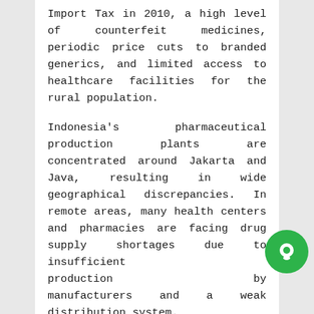Import Tax in 2010, a high level of counterfeit medicines, periodic price cuts to branded generics, and limited access to healthcare facilities for the rural population.
Indonesia's pharmaceutical production plants are concentrated around Jakarta and Java, resulting in wide geographical discrepancies. In remote areas, many health centers and pharmacies are facing drug supply shortages due to insufficient production by manufacturers and a weak distribution system.
“Furthermore, the high cost of branded medicines combined with a lack of public reimbursement for expensive and novel drug therapies limits access to efficient medicines. However, this offers